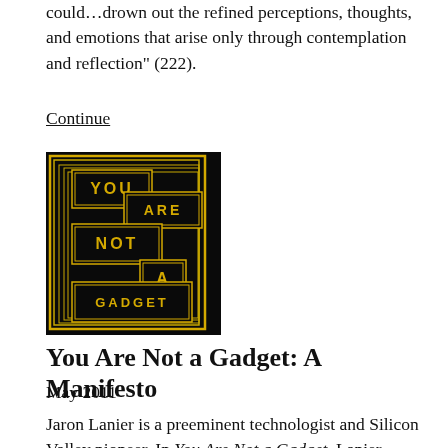could…drown out the refined perceptions, thoughts, and emotions that arise only through contemplation and reflection" (222).
Continue
[Figure (illustration): Book cover of 'You Are Not a Gadget' — black background with gold/yellow geometric Art Deco style text stacked in nested rectangles reading YOU ARE NOT A GADGET]
You Are Not a Gadget: A Manifesto
May 2011
Jaron Lanier is a preeminent technologist and Silicon Valley pioneer. In You Are Not a Gadget, Lanier artfully and even-handedly argues that today's prevailing Internet ethos undervalues the individual, and instead places emphasis on